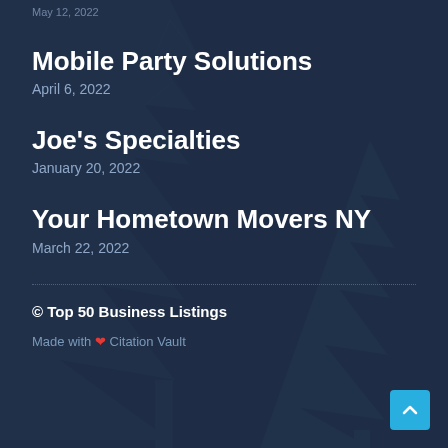May 12, 2022
Mobile Party Solutions
April 6, 2022
Joe's Specialties
January 20, 2022
Your Hometown Movers NY
March 22, 2022
© Top 50 Business Listings
Made with ❤ Citation Vault